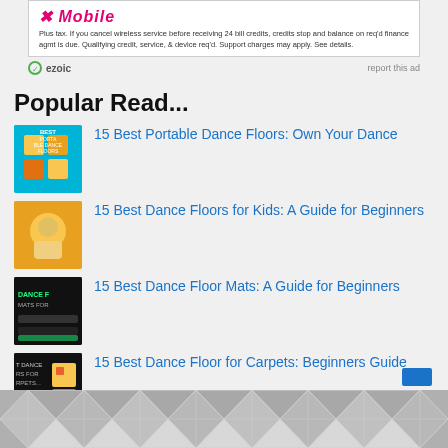[Figure (other): T-Mobile advertisement with logo and fine print text about bill credits and wireless service]
Plus tax. If you cancel wireless service before receiving 24 bill credits, credits stop and balance on req'd finance agmt is due. Qualifying credit, service, & device req'd. Support charges may apply. See details.
ezoic   report this ad
Popular Read...
15 Best Portable Dance Floors: Own Your Dance
15 Best Dance Floors for Kids: A Guide for Beginners
15 Best Dance Floor Mats: A Guide for Beginners
15 Best Dance Floor for Carpets: Beginners Guide
[Figure (other): Bottom advertisement with geometric hexagonal pattern in gray tones]